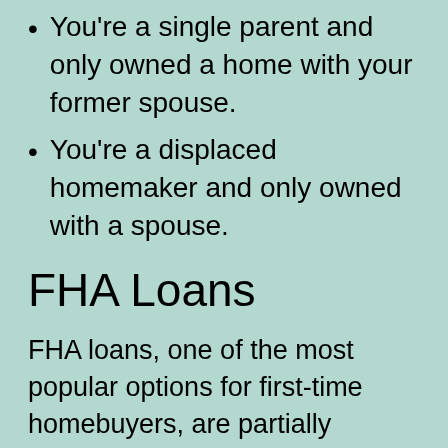You're a single parent and only owned a home with your former spouse.
You're a displaced homemaker and only owned with a spouse.
FHA Loans
FHA loans, one of the most popular options for first-time homebuyers, are partially guaranteed by that agency. This guarantee gives lenders more flexibility to relax their criteria and offer better terms to first-time homebuyers.
How the Loan Works?